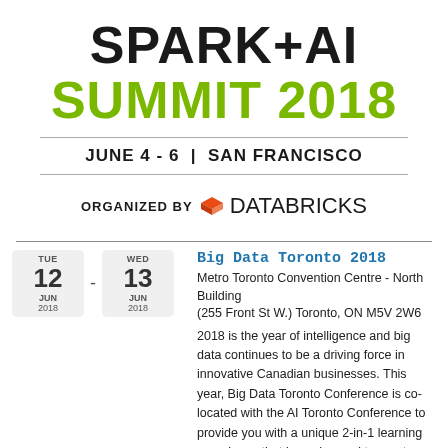SPARK+AI SUMMIT 2018
JUNE 4 - 6  |  SAN FRANCISCO
ORGANIZED BY databricks
Big Data Toronto 2018
Metro Toronto Convention Centre - North Building (255 Front St W.) Toronto, ON M5V 2W6
2018 is the year of intelligence and big data continues to be a driving force in innovative Canadian businesses. This year, Big Data Toronto Conference is co-located with the AI Toronto Conference to provide you with a unique 2-in-1 learning experience that is engineered to meet your data needs and challenges.  With more than 4000 participants, 100 speakers, and 60 exhibiting brands, Big Data x AI Toronto